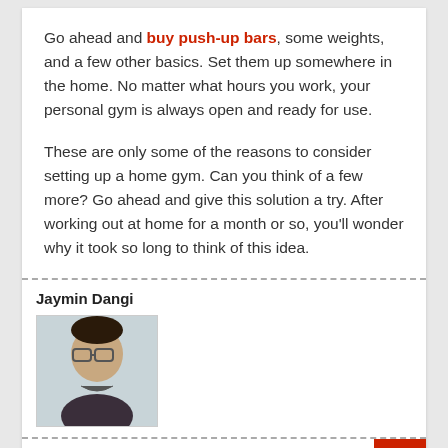Go ahead and buy push-up bars, some weights, and a few other basics. Set them up somewhere in the home. No matter what hours you work, your personal gym is always open and ready for use.
These are only some of the reasons to consider setting up a home gym. Can you think of a few more? Go ahead and give this solution a try. After working out at home for a month or so, you'll wonder why it took so long to think of this idea.
Jaymin Dangi
[Figure (photo): Author photo of Jaymin Dangi — a man with glasses and short dark hair, wearing a dark colored shirt, light background]
Tags: Exercise, Gym, Health, Home Gym